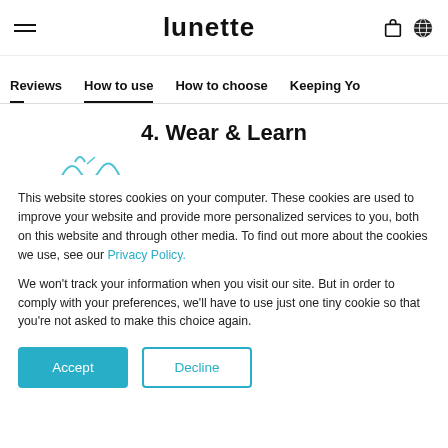lunette
Reviews | How to use | How to choose | Keeping Yo...
4. Wear & Learn
This website stores cookies on your computer. These cookies are used to improve your website and provide more personalized services to you, both on this website and through other media. To find out more about the cookies we use, see our Privacy Policy.
We won't track your information when you visit our site. But in order to comply with your preferences, we'll have to use just one tiny cookie so that you're not asked to make this choice again.